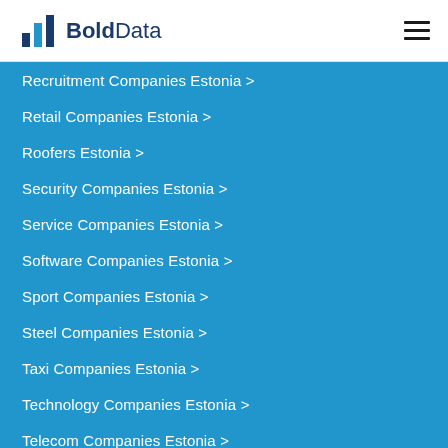BoldData
Recruitment Companies Estonia >
Retail Companies Estonia >
Roofers Estonia >
Security Companies Estonia >
Service Companies Estonia >
Software Companies Estonia >
Sport Companies Estonia >
Steel Companies Estonia >
Taxi Companies Estonia >
Technology Companies Estonia >
Telecom Companies Estonia >
Theater Companies Estonia >
Theaters Estonia >